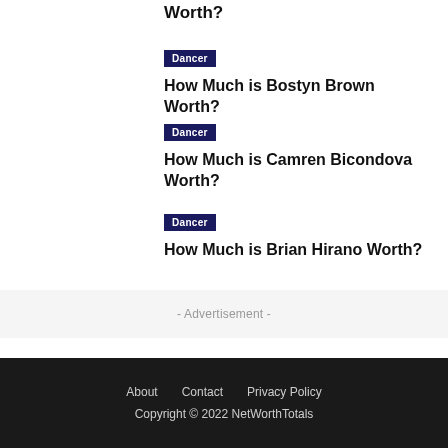Worth?
Dancer
How Much is Bostyn Brown Worth?
Dancer
How Much is Camren Bicondova Worth?
Dancer
How Much is Brian Hirano Worth?
- Advertisement -
About   Contact   Privacy Policy
Copyright © 2022 NetWorthTotals